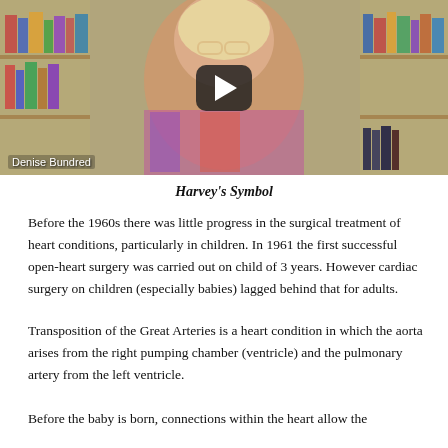[Figure (screenshot): Video thumbnail showing a woman (Denise Bundred) with bookshelves in background, with a YouTube-style play button overlay. Label 'Denise Bundred' appears in the lower left of the thumbnail.]
Harvey's Symbol
Before the 1960s there was little progress in the surgical treatment of heart conditions, particularly in children. In 1961 the first successful open-heart surgery was carried out on child of 3 years. However cardiac surgery on children (especially babies) lagged behind that for adults.
Transposition of the Great Arteries is a heart condition in which the aorta arises from the right pumping chamber (ventricle) and the pulmonary artery from the left ventricle.
Before the baby is born, connections within the heart allow the